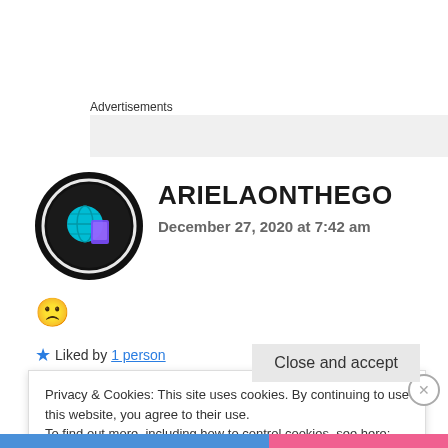Advertisements
[Figure (other): Grey advertisement placeholder box]
[Figure (other): Circular user avatar with globe/travel illustration on dark background - ARIELAONTHEGO profile]
ARIELAONTHEGO
December 27, 2020 at 7:42 am
🙁
★ Liked by 1 person
Privacy & Cookies: This site uses cookies. By continuing to use this website, you agree to their use.
To find out more, including how to control cookies, see here: Cookie Policy
Close and accept